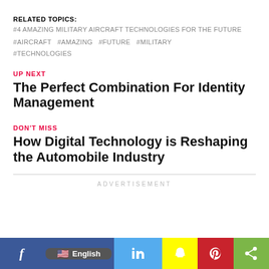RELATED TOPICS:
#4 AMAZING MILITARY AIRCRAFT TECHNOLOGIES FOR THE FUTURE
#AIRCRAFT   #AMAZING   #FUTURE   #MILITARY   #TECHNOLOGIES
UP NEXT
The Perfect Combination For Identity Management
DON'T MISS
How Digital Technology is Reshaping the Automobile Industry
ADVERTISEMENT